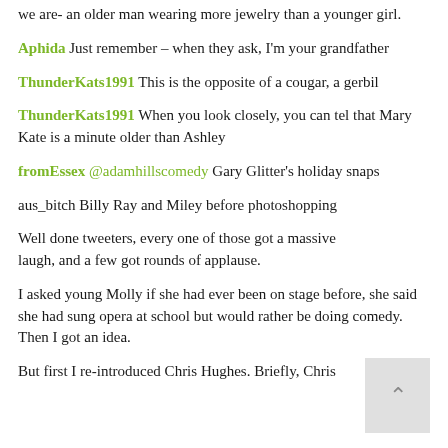we are- an older man wearing more jewelry than a younger girl.
Aphida Just remember – when they ask, I'm your grandfather
ThunderKats1991 This is the opposite of a cougar, a gerbil
ThunderKats1991 When you look closely, you can tel that Mary Kate is a minute older than Ashley
fromEssex @adamhillscomedy Gary Glitter's holiday snaps
aus_bitch Billy Ray and Miley before photoshopping
Well done tweeters, every one of those got a massive laugh, and a few got rounds of applause.
I asked young Molly if she had ever been on stage before, she said she had sung opera at school but would rather be doing comedy. Then I got an idea.
But first I re-introduced Chris Hughes. Briefly, Chris